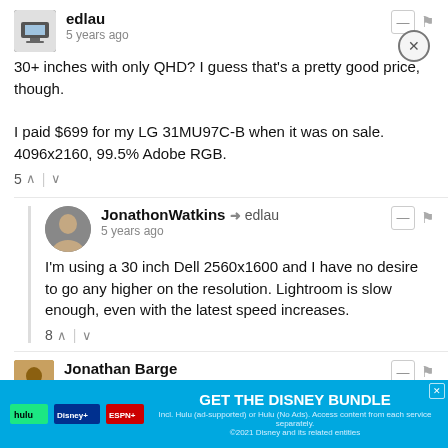edlau · 5 years ago · 30+ inches with only QHD? I guess that's a pretty good price, though.

I paid $699 for my LG 31MU97C-B when it was on sale. 4096x2160, 99.5% Adobe RGB.

Votes: 5
JonathonWatkins → edlau · 5 years ago · I'm using a 30 inch Dell 2560x1600 and I have no desire to go any higher on the resolution. Lightroom is slow enough, even with the latest speed increases.

Votes: 8
Jonathan Barge · 5 years ago · can't wait to see this priced at around $1500 – $2000 once the 'Austra...
[Figure (screenshot): Disney Bundle advertisement banner: Hulu + Disney+ + ESPN+ logos, GET THE DISNEY BUNDLE text, fine print about subscription terms, with X close button]